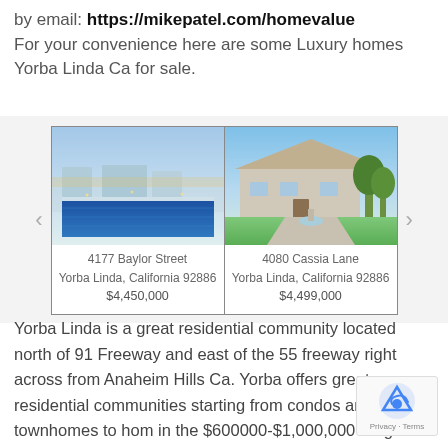by email: https://mikepatel.com/homevalue
For your convenience here are some Luxury homes Yorba Linda Ca for sale.
[Figure (photo): Carousel of two luxury home listings: 4177 Baylor Street, Yorba Linda, California 92886, $4,450,000 (pool/modern home photo) and 4080 Cassia Lane, Yorba Linda, California 92886, $4,499,000 (ranch-style home with lawn photo)]
Yorba Linda is a great residential community located north of 91 Freeway and east of the 55 freeway right across from Anaheim Hills Ca. Yorba offers great residential communities starting from condos and townhomes to homes in the $600000-$1,000,000 range and goes all way up to $10,000,000 million dollars. A house on